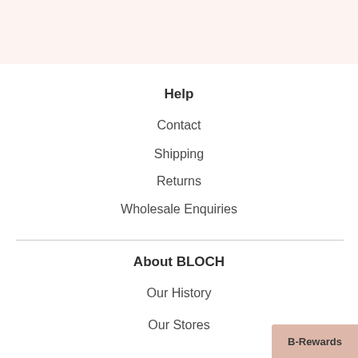Help
Contact
Shipping
Returns
Wholesale Enquiries
About BLOCH
Our History
Our Stores
B-Rewards